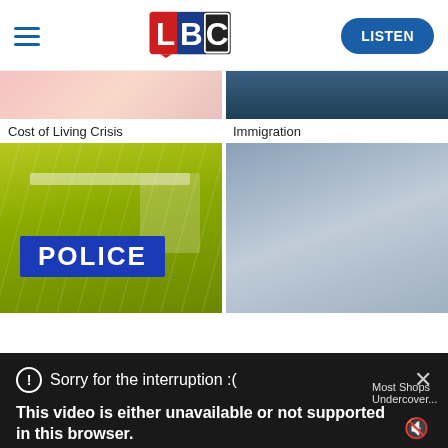[Figure (screenshot): LBC website header with hamburger menu, LBC logo (L in red, B in blue, C in dark/white blocks), and a blue LISTEN button]
Cost of Living Crisis
Immigration
[Figure (photo): Photo of a police officer's back showing a yellow high-visibility jacket with POLICE badge in blue]
[Figure (photo): Photo of grey/blue cloudy sky]
Sorry for the interruption :(
This video is either unavailable or not supported in this browser. Please refresh your browser.
Error Code: MEDIA ERR SRC NOT SUPPORTED
Most Shops Undercover...